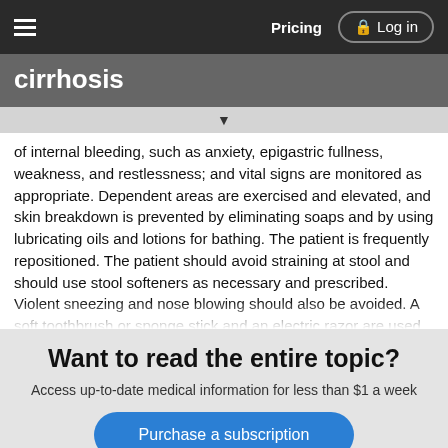Pricing   Log in
cirrhosis
of internal bleeding, such as anxiety, epigastric fullness, weakness, and restlessness; and vital signs are monitored as appropriate. Dependent areas are exercised and elevated, and skin breakdown is prevented by eliminating soaps and by using lubricating oils and lotions for bathing. The patient is frequently repositioned. The patient should avoid straining at stool and should use stool softeners as necessary and prescribed. Violent sneezing and nose blowing should also be avoided. A soft toothbrush or sponge stick and an electric razor are used. Aspirin, acetaminophen, or other over-the-counter medications should not be taken without the physician's knowledge. Alcohol or products containing alcohol are
Want to read the entire topic?
Access up-to-date medical information for less than $1 a week
Purchase a subscription
I'm already a subscriber
Browse sample topics